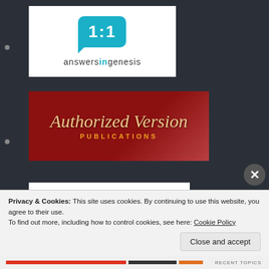[Figure (logo): Answers in Genesis logo: teal speech bubble with '1:1' text, below reads 'answersingenesis']
[Figure (logo): Authorized Version Publications logo: dark red banner with cursive 'Authorized Version' script and 'PUBLICATIONS' in gold letters]
[Figure (logo): Barnabas Aid logo: white background with blue text 'barnabasaid' and anchor/wave icon, tagline 'hope and relief for the persecuted church']
[Figure (logo): Chick Publications logo: brown rounded rectangle with 'CHICK PUBLICATIONS' in white bold text]
Privacy & Cookies: This site uses cookies. By continuing to use this website, you agree to their use.
To find out more, including how to control cookies, see here: Cookie Policy
Close and accept